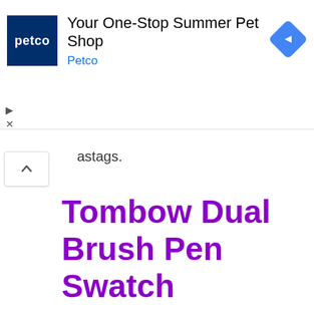[Figure (screenshot): Petco advertisement banner: 'Your One-Stop Summer Pet Shop' with Petco logo and navigation diamond icon]
astags.
Tombow Dual Brush Pen Swatch
[Figure (other): Loading spinner animation at center-bottom of page]
[Figure (other): Gray scroll-to-top button at bottom-right edge of page]